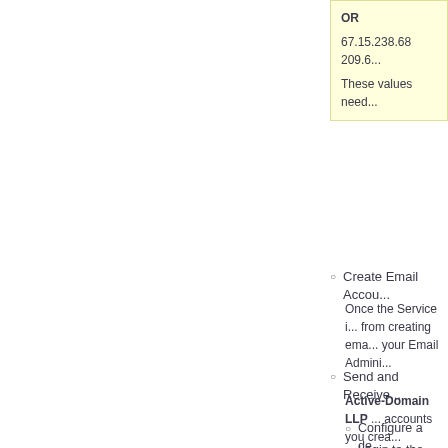OR
67.15.238.68 209.6...
These values need...
Create Email Accou...
Once the Service i... from creating ema... your Email Admini...
Send and Receive...
Active-Domain LLP ... accounts you crea...
Configure a de...
Login to the W...